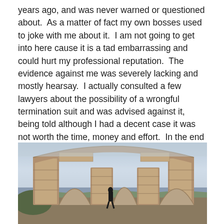years ago, and was never warned or questioned about. As a matter of fact my own bosses used to joke with me about it. I am not going to get into here cause it is a tad embarrassing and could hurt my professional reputation. The evidence against me was severely lacking and mostly hearsay. I actually consulted a few lawyers about the possibility of a wrongful termination suit and was advised against it, being told although I had a decent case it was not worth the time, money and effort. In the end I took what little severance I was offered and moved on with my life.
[Figure (photo): A person standing beneath ancient stone arches/ruins with cloudy sky and distant hills in the background.]